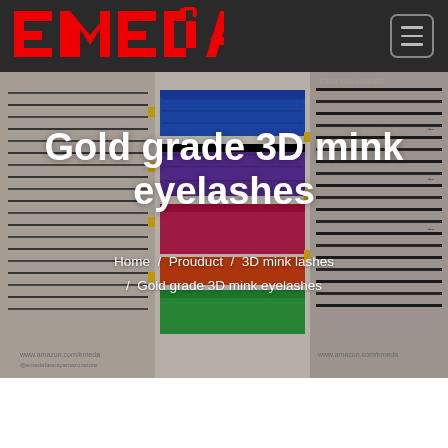[Figure (logo): EMEDA logo in red stylized letters on dark navigation bar]
[Figure (photo): Hero banner showing colorful and black 3D mink eyelash trays including blue, purple, red, green colored lashes and black lashes on Amazon product trays. Website URLs www.amazon.com/emeda visible.]
Gold grade 3D mink eyelashes
Home  /  Prouduct  /  3D mink lashes  /  Gold grade 3D mink eyelashes